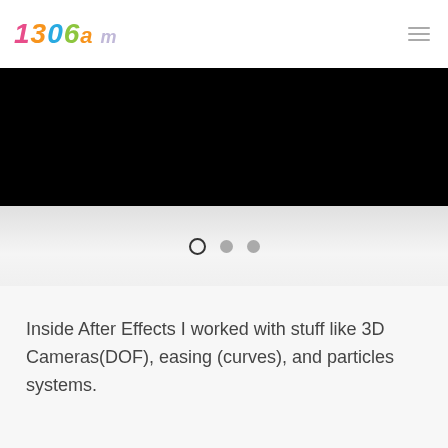[Figure (logo): 1306am colorful stylized logo in pink, orange, blue, green colors]
[Figure (photo): Black banner/hero image area]
[Figure (infographic): Slider navigation dots: one open circle and two filled gray circles]
Inside After Effects I worked with stuff like 3D Cameras(DOF), easing (curves), and particles systems.